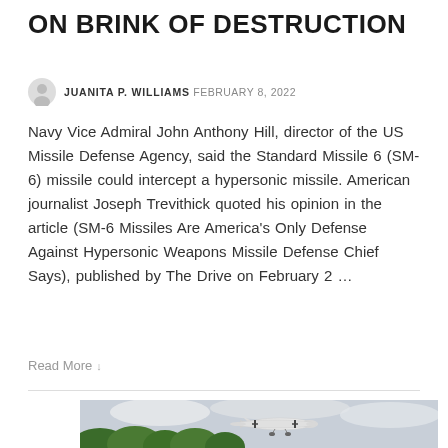ON BRINK OF DESTRUCTION
JUANITA P. WILLIAMS  FEBRUARY 8, 2022
Navy Vice Admiral John Anthony Hill, director of the US Missile Defense Agency, said the Standard Missile 6 (SM-6) missile could intercept a hypersonic missile. American journalist Joseph Trevithick quoted his opinion in the article (SM-6 Missiles Are America's Only Defense Against Hypersonic Weapons Missile Defense Chief Says), published by The Drive on February 2 …
Read More ↓
[Figure (photo): A small twin-propeller aircraft flying low over dense green tropical forest with an overcast sky in the background.]